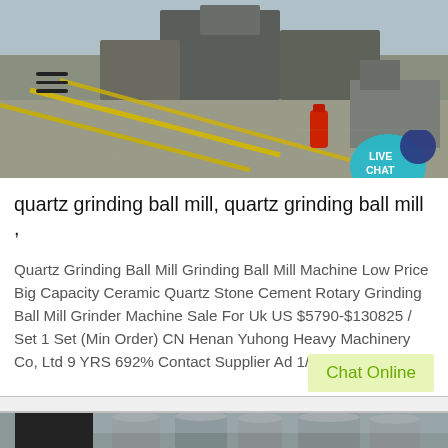[Figure (photo): Industrial ball mill machinery equipment photo with yellow cables, red fire extinguisher, timestamp 11 04 2016]
quartz grinding ball mill, quartz grinding ball mill ,
Quartz Grinding Ball Mill Grinding Ball Mill Machine Low Price Big Capacity Ceramic Quartz Stone Cement Rotary Grinding Ball Mill Grinder Machine Sale For Uk US $5790-$130825 / Set 1 Set (Min Order) CN Henan Yuhong Heavy Machinery Co, Ltd 9 YRS 692% Contact Supplier Ad 1/6
[Figure (photo): Industrial silos or storage tanks photo, grey cylindrical structures]